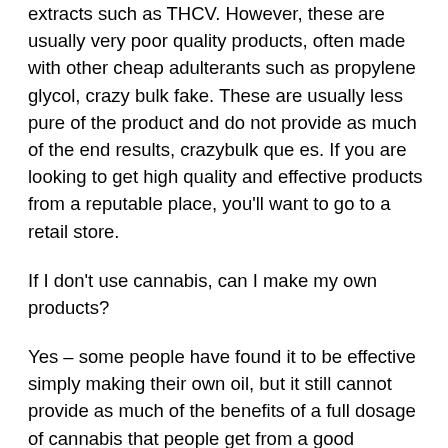extracts such as THCV. However, these are usually very poor quality products, often made with other cheap adulterants such as propylene glycol, crazy bulk fake. These are usually less pure of the product and do not provide as much of the end results, crazybulk que es. If you are looking to get high quality and effective products from a reputable place, you'll want to go to a retail store.
If I don't use cannabis, can I make my own products?
Yes – some people have found it to be effective simply making their own oil, but it still cannot provide as much of the benefits of a full dosage of cannabis that people get from a good product, side crazy bulk effects. Therefore, unless you've been using cannabis for a while, it's probably best to stick with the same